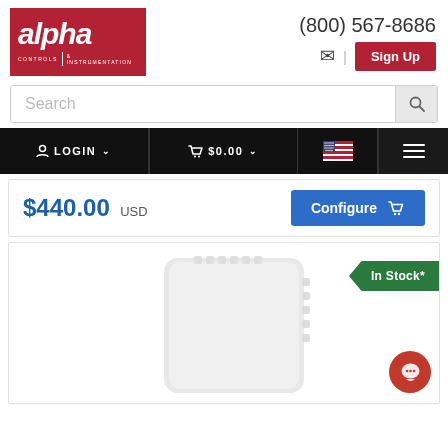[Figure (logo): Alpha Controls & Instrumentation logo — red rectangle with white stylized 'alpha' text and subtitle 'CONTROLS & INSTRUMENTATION']
(800) 567-8686
Sign Up
Search
LOGIN
$0.00
$440.00 USD
Configure
In Stock*
[Figure (photo): White rectangular device/sensor with ridged edges on top and right side, photographed on white background]